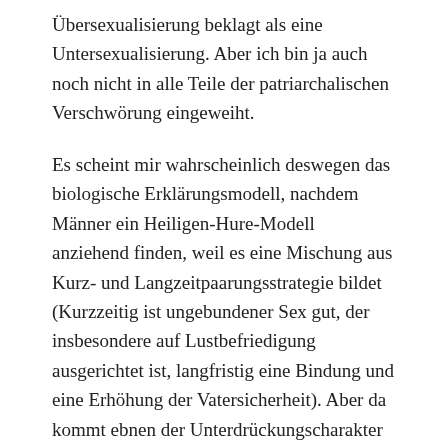Übersexualisierung beklagt als eine Untersexualisierung. Aber ich bin ja auch noch nicht in alle Teile der patriarchalischen Verschwörung eingeweiht.
Es scheint mir wahrscheinlich deswegen das biologische Erklärungsmodell, nachdem Männer ein Heiligen-Hure-Modell anziehend finden, weil es eine Mischung aus Kurz- und Langzeitpaarungsstrategie bildet (Kurzzeitig ist ungebundener Sex gut, der insbesondere auf Lustbefriedigung ausgerichtet ist, langfristig eine Bindung und eine Erhöhung der Vatersicherheit). Aber da kommt ebnen der Unterdrückungscharakter und das Befreiungsmoment zu kurz.
Natürlich gibt es eine sexnegative feministische